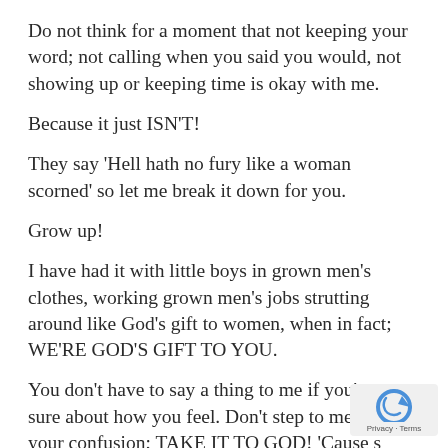Do not think for a moment that not keeping your word; not calling when you said you would, not showing up or keeping time is okay with me.
Because it just ISN'T!
They say 'Hell hath no fury like a woman scorned' so let me break it down for you.
Grow up!
I have had it with little boys in grown men's clothes, working grown men's jobs strutting around like God's gift to women, when in fact; WE'RE GOD'S GIFT TO YOU.
You don't have to say a thing to me if you're not sure about how you feel. Don't step to me with your confusion; TAKE IT TO GOD! 'Cause see when you do that, you won't have to drag me